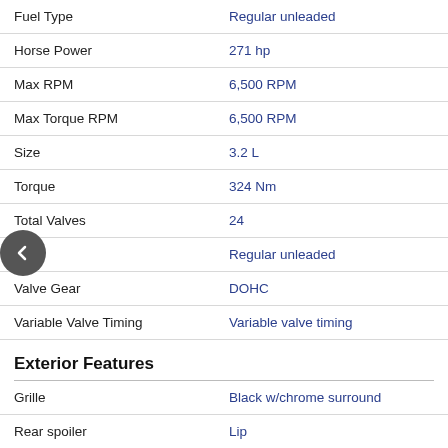| Attribute | Value |
| --- | --- |
| Fuel Type | Regular unleaded |
| Horse Power | 271 hp |
| Max RPM | 6,500 RPM |
| Max Torque RPM | 6,500 RPM |
| Size | 3.2 L |
| Torque | 324 Nm |
| Total Valves | 24 |
| Type | Regular unleaded |
| Valve Gear | DOHC |
| Variable Valve Timing | Variable valve timing |
Exterior Features
| Attribute | Value |
| --- | --- |
| Grille | Black w/chrome surround |
| Rear spoiler | Lip |
Fuel Consumption
| Attribute | Value |
| --- | --- |
| City | 11.2 L/100 km |